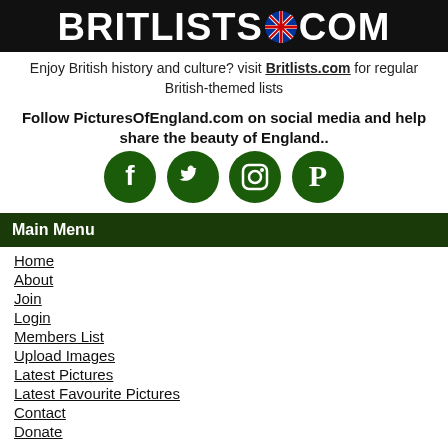[Figure (logo): BRITLISTS.COM logo in white bold text on black background with a UK flag circle replacing the dot]
Enjoy British history and culture? visit Britlists.com for regular British-themed lists
Follow PicturesOfEngland.com on social media and help share the beauty of England..
[Figure (illustration): Four circular dark green social media icons: Facebook, Twitter, Instagram, Pinterest]
Main Menu
Home
About
Join
Login
Members List
Upload Images
Latest Pictures
Latest Favourite Pictures
Contact
Donate
Explore England
England Counties
Historic Market Towns